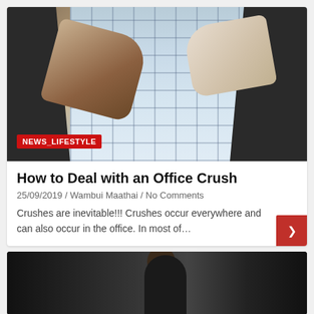[Figure (photo): Two people shaking hands across a table in an office setting with large windows showing a city skyline in the background. Black office chairs visible on both sides.]
NEWS_LIFESTYLE
How to Deal with an Office Crush
25/09/2019 / Wambui Maathai / No Comments
Crushes are inevitable!!! Crushes occur everywhere and can also occur in the office. In most of…
[Figure (photo): Person in dark setting, partial view showing a man with eyes closed]